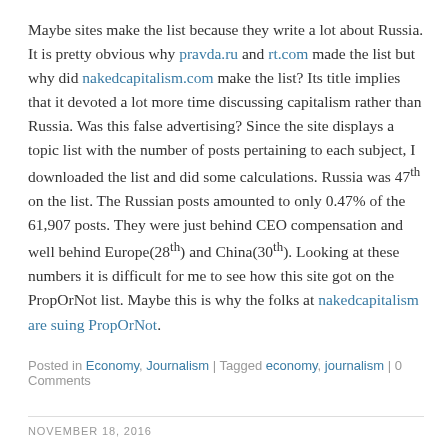Maybe sites make the list because they write a lot about Russia. It is pretty obvious why pravda.ru and rt.com made the list but why did nakedcapitalism.com make the list? Its title implies that it devoted a lot more time discussing capitalism rather than Russia. Was this false advertising? Since the site displays a topic list with the number of posts pertaining to each subject, I downloaded the list and did some calculations. Russia was 47th on the list. The Russian posts amounted to only 0.47% of the 61,907 posts. They were just behind CEO compensation and well behind Europe(28th) and China(30th). Looking at these numbers it is difficult for me to see how this site got on the PropOrNot list. Maybe this is why the folks at nakedcapitalism are suing PropOrNot.
Posted in Economy, Journalism | Tagged economy, journalism | 0 Comments
NOVEMBER 18, 2016